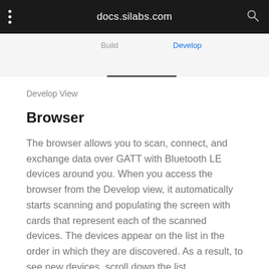docs.silabs.com
[Figure (screenshot): Navigation tab strip showing 'Build' and 'Develop' tabs with Develop underlined]
Develop View
Browser
The browser allows you to scan, connect, and exchange data over GATT with Bluetooth LE devices around you. When you access the browser from the Develop view, it automatically starts scanning and populating the screen with cards that represent each of the scanned devices. The devices appear on the list in the order in which they are discovered. As a result, to see new devices, scroll down the list.